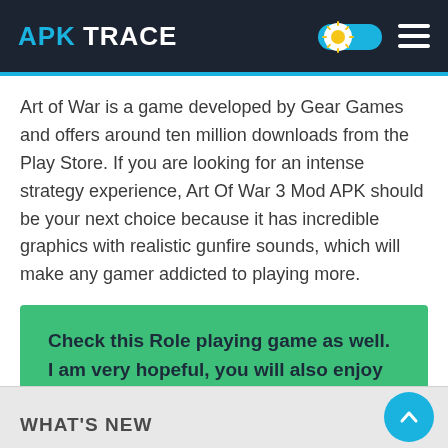APK TRACE
Art of War is a game developed by Gear Games and offers around ten million downloads from the Play Store. If you are looking for an intense strategy experience, Art Of War 3 Mod APK should be your next choice because it has incredible graphics with realistic gunfire sounds, which will make any gamer addicted to playing more.
Check this Role playing game as well. I am very hopeful, you will also enjoy this amazing role playing game just like Art of War 3 Mod Apk 2020.
Dragon Raja Mod Apk
WHAT'S NEW